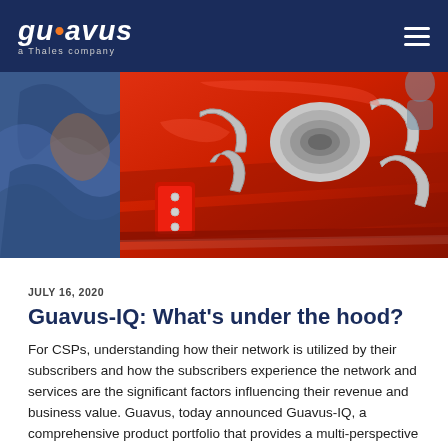guavus · a Thales company
[Figure (photo): Close-up photo of a red classic car engine with chrome parts and a blue car visible in the background]
JULY 16, 2020
Guavus-IQ: What's under the hood?
For CSPs, understanding how their network is utilized by their subscribers and how the subscribers experience the network and services are the significant factors influencing their revenue and business value. Guavus, today announced Guavus-IQ, a comprehensive product portfolio that provides a multi-perspective analytics experience for CSPs.